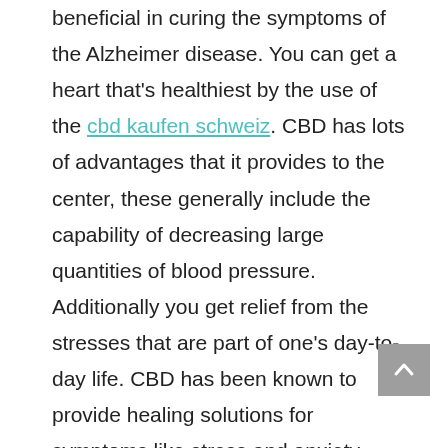beneficial in curing the symptoms of the Alzheimer disease. You can get a heart that's healthiest by the use of the cbd kaufen schweiz. CBD has lots of advantages that it provides to the center, these generally include the capability of decreasing large quantities of blood pressure. Additionally you get relief from the stresses that are part of one's day-to-day life. CBD has been known to provide healing solutions for symptoms like stress and anxiety, therefore supporting in the reduced amount of psychological levels of anxious behavior. It also assists in reducing the impression of despair and anxiety.
The miracle of CBD